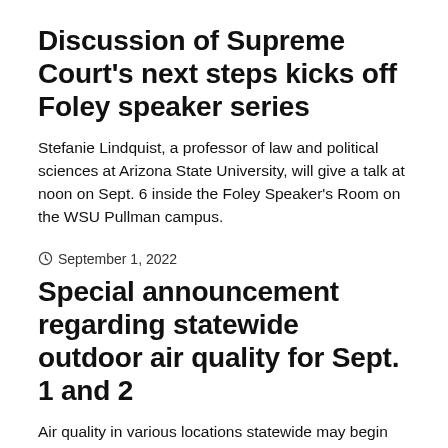Discussion of Supreme Court's next steps kicks off Foley speaker series
Stefanie Lindquist, a professor of law and political sciences at Arizona State University, will give a talk at noon on Sept. 6 inside the Foley Speaker's Room on the WSU Pullman campus.
September 1, 2022
Special announcement regarding statewide outdoor air quality for Sept. 1 and 2
Air quality in various locations statewide may begin